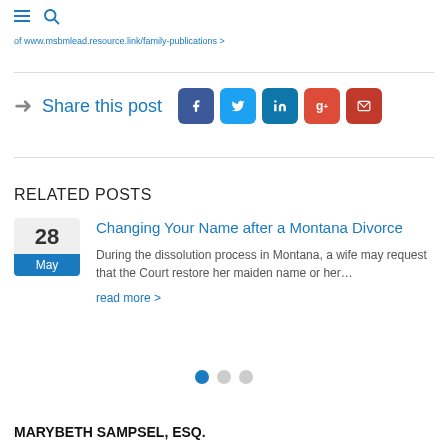≡ 🔍
of www.msbmlead.resource.link/family-publications >
Share this post
RELATED POSTS
Changing Your Name after a Montana Divorce
During the dissolution process in Montana, a wife may request that the Court restore her maiden name or her...
read more >
MARYBETH SAMPSEL, ESQ.